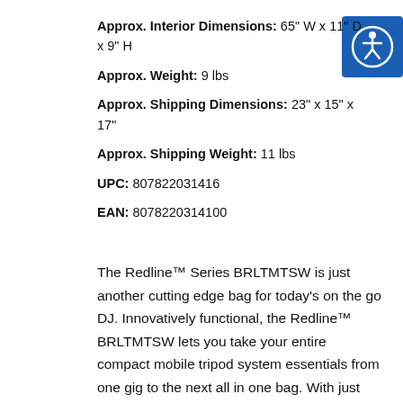Approx. Interior Dimensions: 65" W x 11" D x 9" H
Approx. Weight: 9 lbs
Approx. Shipping Dimensions: 23" x 15" x 17"
Approx. Shipping Weight: 11 lbs
UPC: 807822031416
EAN: 8078220314100
[Figure (logo): Accessibility icon: white person figure in circle on blue background]
The Redline™ Series BRLTMTSW is just another cutting edge bag for today's on the go DJ. Innovatively functional, the Redline™ BRLTMTSW lets you take your entire compact mobile tripod system essentials from one gig to the next all in one bag. With just one hand on the durable front handle, you can conveniently roll the bag and all its contents(I-beams, tripods, connecting poles, screens, etc.) from one spot to another. Once your system is set up, the empty BRLTMTSW folds up